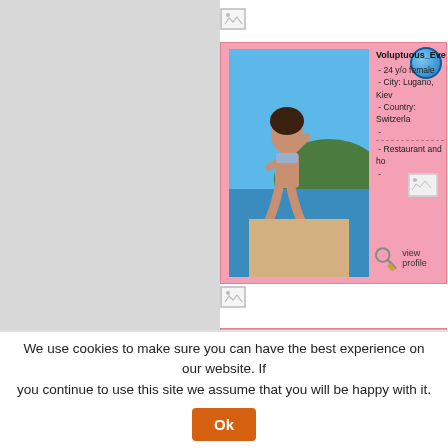[Figure (screenshot): Broken image icon at top of right panel]
[Figure (photo): Profile card for Voluptuous_Eve: woman in bikini by lake, pink card with profile details]
Voluptuous_Eve
 - 24 y/o female
 - City: Lugano, Kiev
 - Country: Switzerla
 -
 - Restaurant and ho
 -
view profile
[Figure (screenshot): Broken image icon separator between cards]
[Figure (photo): Profile card for TenderDream_Marin: woman with blonde wavy hair, pink card with profile details]
TenderDream_Marin
 - 38 y/o female
 - City: Odessa
 - Country: Ukraine
 -
 - manager in a trave
 - 1 children
We use cookies to make sure you can have the best experience on our website. If you continue to use this site we assume that you will be happy with it.
Ok